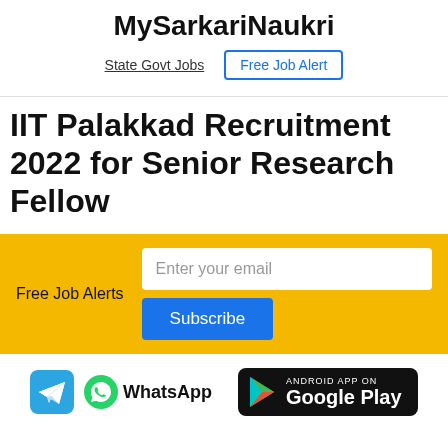MySarkariNaukri
State Govt Jobs | Free Job Alert
IIT Palakkad Recruitment 2022 for Senior Research Fellow
Free Job Alerts  [Enter your email] [Subscribe]
[Figure (infographic): Social media icons: Telegram, WhatsApp, and Google Play store badge]
WhatsApp  ANDROID APP ON Google Play